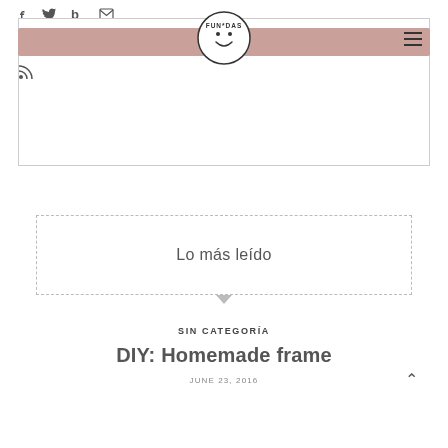f  t  b  [mail]
[Figure (logo): FUN*DAS smiley face logo circle]
Lo más leído
SIN CATEGORÍA
DIY: Homemade frame
JUNE 23, 2016